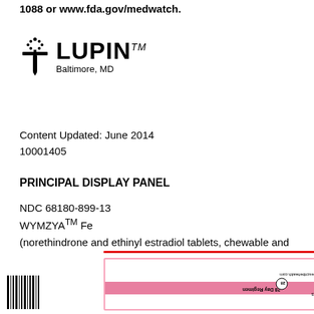1088 or www.fda.gov/medwatch.
[Figure (logo): Lupin logo with sword/cross icon, text LUPIN TM, Baltimore, MD]
Content Updated: June 2014
10001405
PRINCIPAL DISPLAY PANEL
NDC 68180-899-13
WYMZYA™ Fe
(norethindrone and ethinyl estradiol tablets, chewable and ferrous fumarate tablets) 0.4 mg/35 mcg
5 Blister Cards. Each Blister Card contains 28 Tablets
[Figure (photo): Pharmaceutical package/blister card image showing WYMZYA Fe packaging with pink and white colors, barcodes, and upside-down text indicating 5 Blister Cards, 28 Tablets, Rx only, 28 Day Regimen, www.lupinprescribehealth.com]